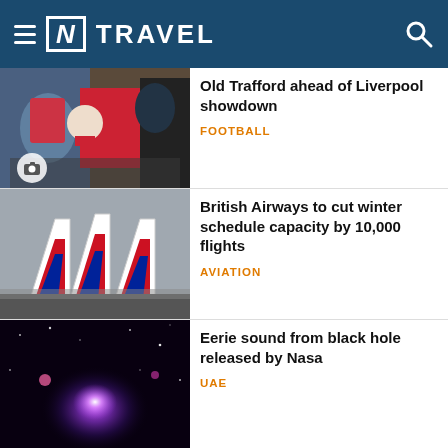[N] TRAVEL
[Figure (photo): Crowd of sports fans, player signing autographs at Old Trafford ahead of Liverpool showdown]
Old Trafford ahead of Liverpool showdown
FOOTBALL
[Figure (photo): British Airways aircraft tail fins on tarmac]
British Airways to cut winter schedule capacity by 10,000 flights
AVIATION
[Figure (photo): Space image showing a black hole with purple/pink glow against dark background]
Eerie sound from black hole released by Nasa
UAE